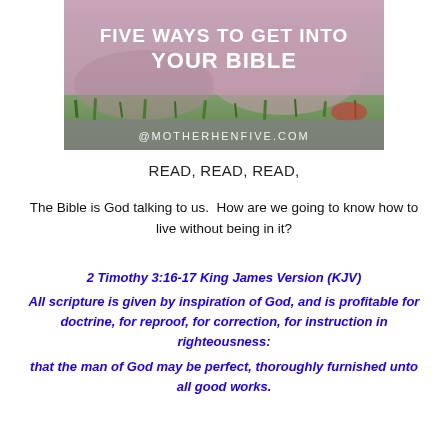[Figure (illustration): A photo of a person lying on grass reading a book, overlaid with white bold text reading 'FIVE WAYS TO GET INTO YOUR BIBLE' and a grey banner at the bottom reading '@MOTHERHENFIVE.COM']
READ, READ, READ,
The Bible is God talking to us.  How are we going to know how to live without being in it?
2 Timothy 3:16-17 King James Version (KJV)
All scripture is given by inspiration of God, and is profitable for doctrine, for reproof, for correction, for instruction in righteousness:
that the man of God may be perfect, thoroughly furnished unto all good works.